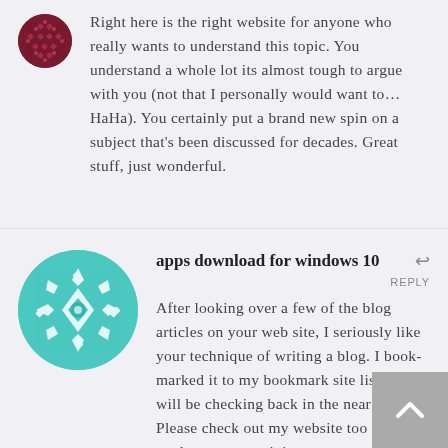[Figure (illustration): Dark red/maroon circular avatar with diamond/dot pattern]
Right here is the right website for anyone who really wants to understand this topic. You understand a whole lot its almost tough to argue with you (not that I personally would want to… HaHa). You certainly put a brand new spin on a subject that's been discussed for decades. Great stuff, just wonderful.
[Figure (illustration): Teal circular avatar with geometric diamond/snowflake pattern]
apps download for windows 10
REPLY
After looking over a few of the blog articles on your web site, I seriously like your technique of writing a blog. I book-marked it to my bookmark site list and will be checking back in the near future. Please check out my website too and let me know your opinion.
[Figure (illustration): Gray scroll-to-top button with upward chevron arrow]